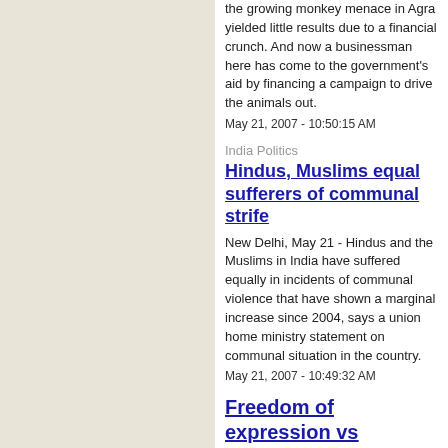the growing monkey menace in Agra yielded little results due to a financial crunch. And now a businessman here has come to the government's aid by financing a campaign to drive the animals out.
May 21, 2007 - 10:50:15 AM
India Politics
Hindus, Muslims equal sufferers of communal strife
New Delhi, May 21 - Hindus and the Muslims in India have suffered equally in incidents of communal violence that have shown a marginal increase since 2004, says a union home ministry statement on communal situation in the country.
May 21, 2007 - 10:49:32 AM
Freedom of expression vs people's sentiments in art
New Delhi, May 21 - Whether it's the Vadodara issue of a fine arts student getting arrested for painting allegedly obscene pictures of gods or noted artist M.F. Husain getting slapped with court cases time and again over the same issue,